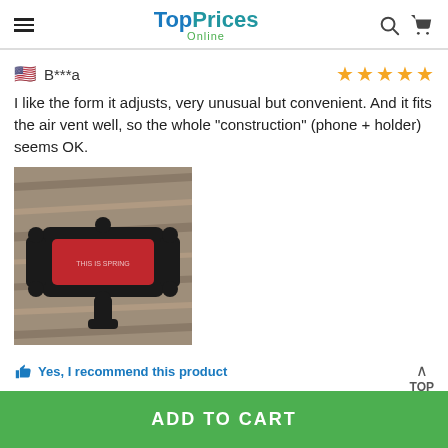TopPrices Online
B***a
I like the form it adjusts, very unusual but convenient. And it fits the air vent well, so the whole "construction" (phone + holder) seems OK.
[Figure (photo): Photo of a red and black car phone holder/mount placed on a wooden surface]
Yes, I recommend this product
ADD TO CART